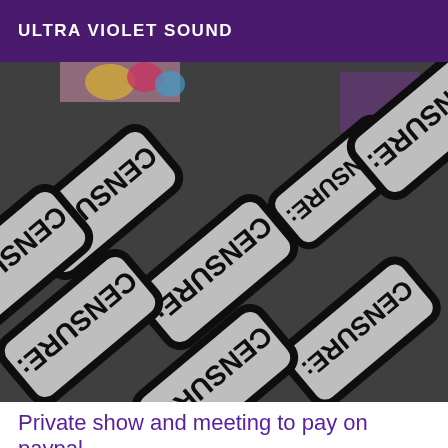ULTRA VIOLET SOUND
[Figure (photo): A collection of white rectangular stickers/badges with rounded corners and black borders, all printed with 'CENSURE:' text rendered upside down and mirrored, scattered diagonally across a dark background. Some colorful elements visible in the upper portion.]
Private show and meeting to pay on paypal